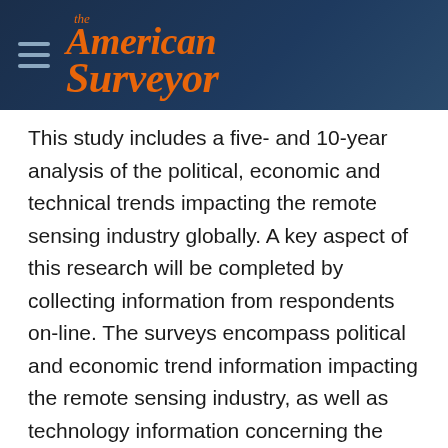The American Surveyor
This study includes a five- and 10-year analysis of the political, economic and technical trends impacting the remote sensing industry globally. A key aspect of this research will be completed by collecting information from respondents on-line. The surveys encompass political and economic trend information impacting the remote sensing industry, as well as technology information concerning the Aerial Film, Aerial Digital, Aerial Sensors, Satellites, and Remote Sensing Hardware and Software sectors.
Individuals from all segments of the worldwide aerial and satellite remote sensing industry are